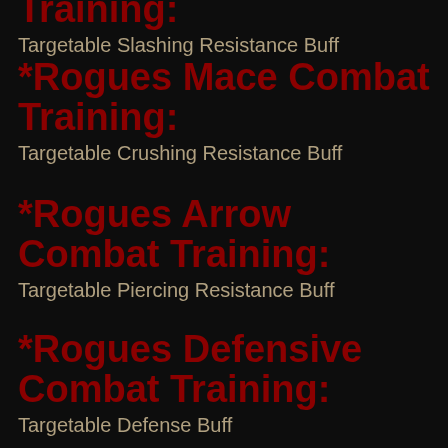Training:
Targetable Slashing Resistance Buff
*Rogues Mace Combat Training:
Targetable Crushing Resistance Buff
*Rogues Arrow Combat Training:
Targetable Piercing Resistance Buff
*Rogues Defensive Combat Training:
Targetable Defense Buff